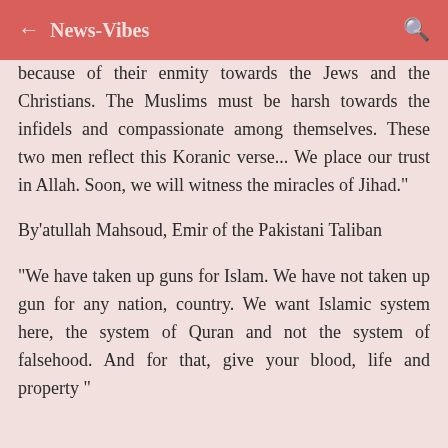← News-Vibes 🔍
because of their enmity towards the Jews and the Christians. The Muslims must be harsh towards the infidels and compassionate among themselves. These two men reflect this Koranic verse... We place our trust in Allah. Soon, we will witness the miracles of Jihad."
By'atullah Mahsoud, Emir of the Pakistani Taliban
"We have taken up guns for Islam. We have not taken up gun for any nation, country. We want Islamic system here, the system of Quran and not the system of falsehood. And for that, give your blood, life and property "